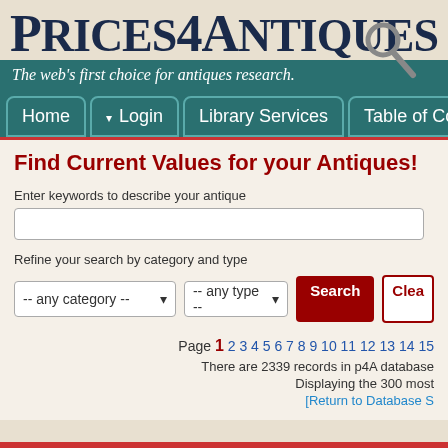Prices4Antiques
The web's first choice for antiques research.
Home | Login | Library Services | Table of Cont...
Find Current Values for your Antiques!
Enter keywords to describe your antique
Refine your search by category and type
-- any category --   -- any type --   Search   Clea...
Page 1 2 3 4 5 6 7 8 9 10 11 12 13 14 15
There are 2339 records in p4A database
Displaying the 300 most...
[Return to Database S...